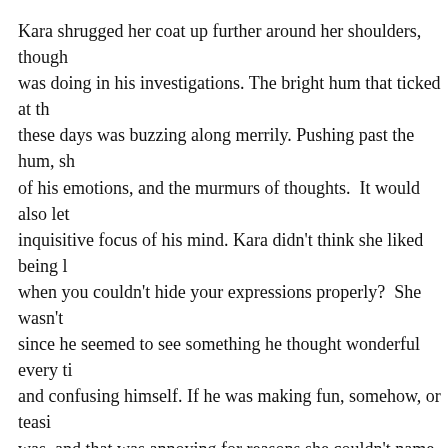Kara shrugged her coat up further around her shoulders, though was doing in his investigations. The bright hum that ticked at th these days was buzzing along merrily. Pushing past the hum, sh of his emotions, and the murmurs of thoughts.  It would also let inquisitive focus of his mind. Kara didn't think she liked being l when you couldn't hide your expressions properly?  She wasn't since he seemed to see something he thought wonderful every ti and confusing himself. If he was making fun, somehow, or teasi was, and that was annoying for reasons she couldn't name.
She pulled herself together and got to work on the job of checki immediate signs of breaking and entering, and the earth over the further out, scouring the long grass in an ever-widening circle a behind the headstone, a suspicious-looking bit of ground. A siza replaced. Nice neat work, too, but as Kara ran her hand down in freshly disturbed, down as far as she could reach. No tunnel now ago.
No sign of trampled-down grass or stray bits of the earth that m